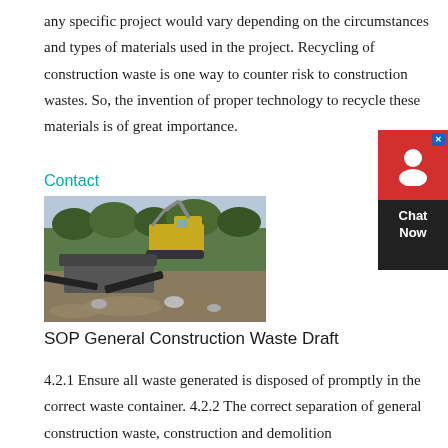any specific project would vary depending on the circumstances and types of materials used in the project. Recycling of construction waste is one way to counter risk to construction wastes. So, the invention of proper technology to recycle these materials is of great importance.
Contact
[Figure (photo): Construction site with heavy machinery including an excavator and crushing/screening equipment processing rubble and construction debris outdoors.]
SOP General Construction Waste Draft
4.2.1 Ensure all waste generated is disposed of promptly in the correct waste container. 4.2.2 The correct separation of general construction waste, construction and demolition